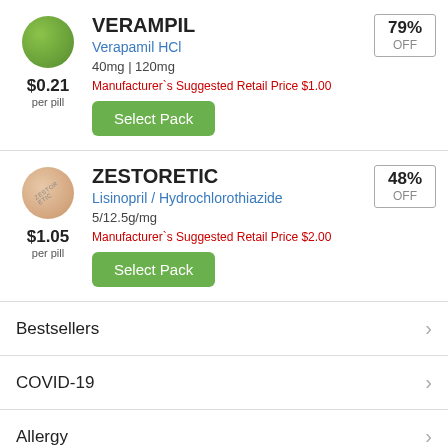[Figure (illustration): Green round pill image for Verampil]
$0.21
per pill
VERAMPIL
Verapamil HCl
40mg | 120mg
Manufacturer`s Suggested Retail Price $1.00
Select Pack
79% OFF
[Figure (illustration): Beige round pill image for Zestoretic]
$1.05
per pill
ZESTORETIC
Lisinopril / Hydrochlorothiazide
5/12.5g/mg
Manufacturer`s Suggested Retail Price $2.00
Select Pack
48% OFF
Bestsellers
COVID-19
Allergy